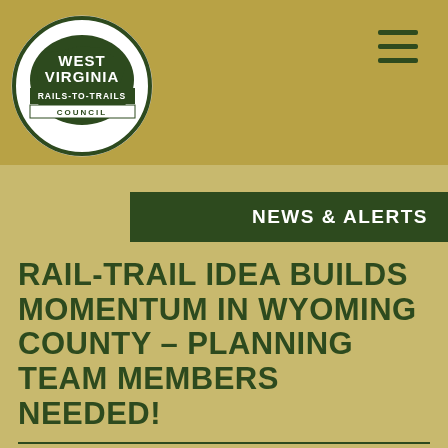[Figure (logo): West Virginia Rails-To-Trails Council circular logo with state silhouette in dark green]
NEWS & ALERTS
RAIL-TRAIL IDEA BUILDS MOMENTUM IN WYOMING COUNTY - PLANNING TEAM MEMBERS NEEDED!
October 31, 2016  Uncategorized
Posted on 10.31.16 by Courtney Roark Raising support